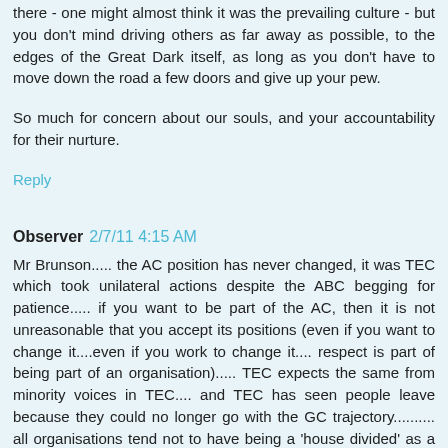there - one might almost think it was the prevailing culture - but you don't mind driving others as far away as possible, to the edges of the Great Dark itself, as long as you don't have to move down the road a few doors and give up your pew.
So much for concern about our souls, and your accountability for their nurture.
Reply
Observer 2/7/11 4:15 AM
Mr Brunson..... the AC position has never changed, it was TEC which took unilateral actions despite the ABC begging for patience..... if you want to be part of the AC, then it is not unreasonable that you accept its positions (even if you want to change it....even if you work to change it.... respect is part of being part of an organisation)..... TEC expects the same from minority voices in TEC.... and TEC has seen people leave because they could no longer go with the GC trajectory.......... all organisations tend not to have being a 'house divided' as a strategy....for good reasons. You write